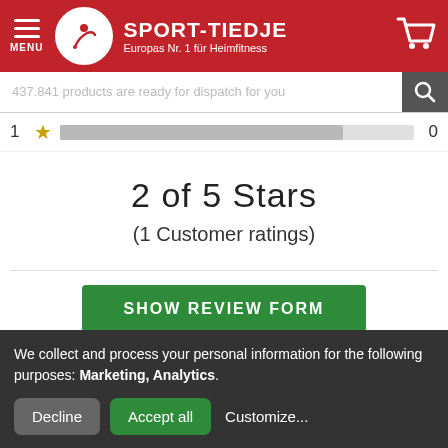SPORT-TIEDJE — Europas Nr. 1 für Heimfitness
437.841 products are ready for dispatch for you
1 ★ [bar] 0
2 of 5 Stars
(1 Customer ratings)
SHOW REVIEW FORM
Write a product rating now and win a gift coupon of 500 €
We collect and process your personal information for the following purposes: Marketing, Analytics.
Decline  Accept all  Customize...